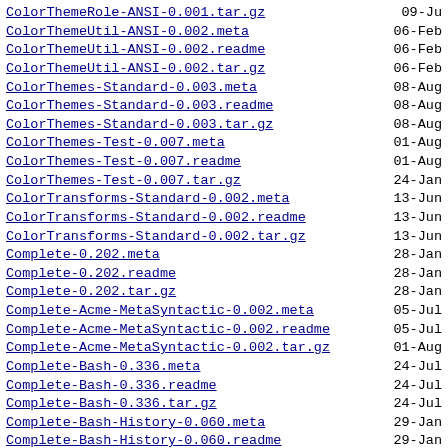ColorThemeRole-ANSI-0.001.tar.gz  09-Ju
ColorThemeUtil-ANSI-0.002.meta  06-Feb
ColorThemeUtil-ANSI-0.002.readme  06-Feb
ColorThemeUtil-ANSI-0.002.tar.gz  06-Feb
ColorThemes-Standard-0.003.meta  08-Aug
ColorThemes-Standard-0.003.readme  08-Aug
ColorThemes-Standard-0.003.tar.gz  08-Aug
ColorThemes-Test-0.007.meta  01-Aug
ColorThemes-Test-0.007.readme  01-Aug
ColorThemes-Test-0.007.tar.gz  24-Jan
ColorTransforms-Standard-0.002.meta  13-Jun
ColorTransforms-Standard-0.002.readme  13-Jun
ColorTransforms-Standard-0.002.tar.gz  13-Jun
Complete-0.202.meta  28-Jan
Complete-0.202.readme  28-Jan
Complete-0.202.tar.gz  28-Jan
Complete-Acme-MetaSyntactic-0.002.meta  05-Jul
Complete-Acme-MetaSyntactic-0.002.readme  05-Jul
Complete-Acme-MetaSyntactic-0.002.tar.gz  01-Aug
Complete-Bash-0.336.meta  24-Jul
Complete-Bash-0.336.readme  24-Jul
Complete-Bash-0.336.tar.gz  24-Jul
Complete-Bash-History-0.060.meta  29-Jan
Complete-Bash-History-0.060.readme  29-Jan
Complete-Bash-History-0.060.tar.gz  29-Jan
Complete-Chrome-0.002.meta  09-May
Complete-Chrome-0.002.readme  09-May
Complete-Chrome-0.002.tar.gz  05-Oct
Complete-Common-0.22.meta  07-Jan
Complete-Common-0.22.readme  07-Jan